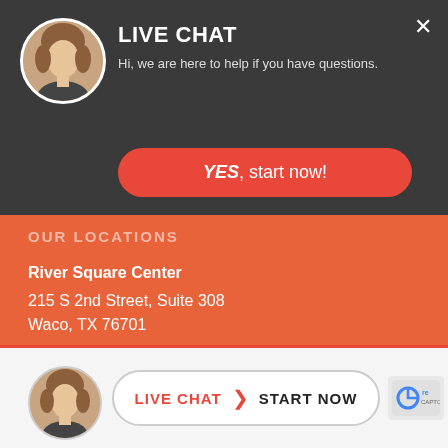[Figure (screenshot): Live chat overlay with avatar photo of a woman, dark gray background, close button, YES start now button]
LIVE CHAT
Hi, we are here to help if you have questions.
YES, start now!
OUR LOCATIONS
River Square Center
215 S 2nd Street, Suite 308
Waco, TX 76701
442 Heights Blvd
Houston, TX 77007
OFFICE HOURS
Mon – Fri: 8:00 am – 5:00 pm
Sat – Sun: by appointment
[Figure (screenshot): Bottom live chat bar with avatar, LIVE CHAT START NOW button, and reCAPTCHA badge]